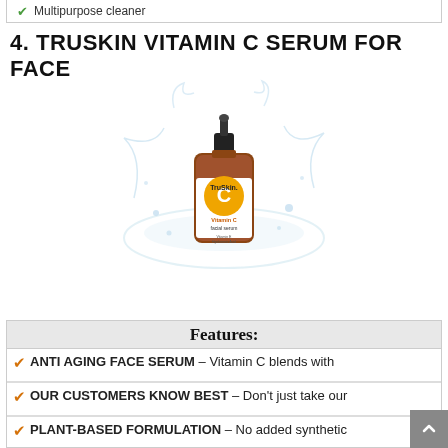Multipurpose cleaner
4. TRUSKIN VITAMIN C SERUM FOR FACE
[Figure (photo): TruSkin Vitamin C Facial Serum amber glass dropper bottle with water splash background]
Check Amazon Price
Features:
ANTI AGING FACE SERUM – Vitamin C blends with
OUR CUSTOMERS KNOW BEST – Don't just take our
PLANT-BASED FORMULATION – No added synthetic
CERTIFIED CRUELTY FREE by Leaping Bunny, our